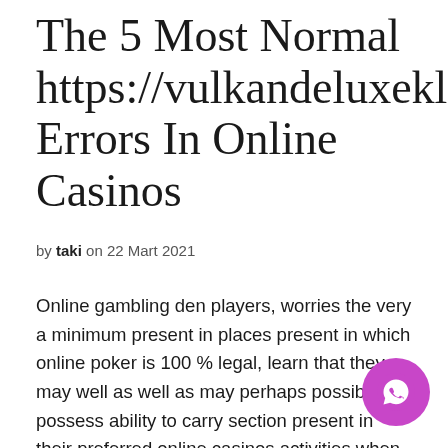The 5 Most Normal https://vulkandeluxeklub.com Errors In Online Casinos
by taki on 22 Mart 2021
Online gambling den players, worries the very a minimum present in places present in which online poker is 100 % legal, learn that they may well as well as may perhaps possibly not possess ability to carry section present in their preferred online casinos activities when they might be worries property. P appliance game titles on the net casino wars shall